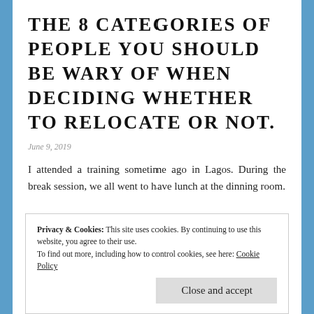THE 8 CATEGORIES OF PEOPLE YOU SHOULD BE WARY OF WHEN DECIDING WHETHER TO RELOCATE OR NOT.
June 9, 2019
I attended a training sometime ago in Lagos. During the break session, we all went to have lunch at the dinning room.
Privacy & Cookies: This site uses cookies. By continuing to use this website, you agree to their use. To find out more, including how to control cookies, see here: Cookie Policy
Close and accept
made me put my worries on hold.